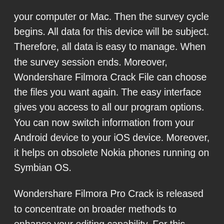your computer or Mac. Then the survey cycle begins. All data for this device will be subject. Therefore, all data is easy to manage. When the survey session ends. Moreover, Wondershare Filmora Crack File can choose the files you want again. The easy interface gives you access to all our program options. You can now switch information from your Android device to your iOS device. Moreover, it helps on obsolete Nokia phones running on Symbian OS.
Wondershare Filmora Pro Crack is released to concentrate on broader methods to enhance your editing capability. For this reason, you will discover tools. When these styles are employed for distinct purposes, To start with, this may be the sole editing tool in the world that is entire. Also, it lets to shoot footage of events. To personalize a video, you put in more voices and then can draw videos. Videos' period provides the chance to drag and drop to a menu tip for...